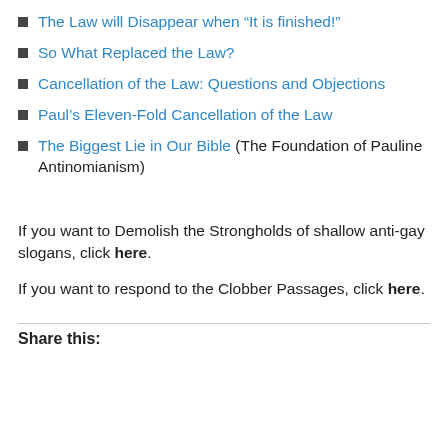The Law will Disappear when “It is finished!”
So What Replaced the Law?
Cancellation of the Law: Questions and Objections
Paul’s Eleven-Fold Cancellation of the Law
The Biggest Lie in Our Bible (The Foundation of Pauline Antinomianism)
If you want to Demolish the Strongholds of shallow anti-gay slogans, click here.
If you want to respond to the Clobber Passages, click here.
Share this: